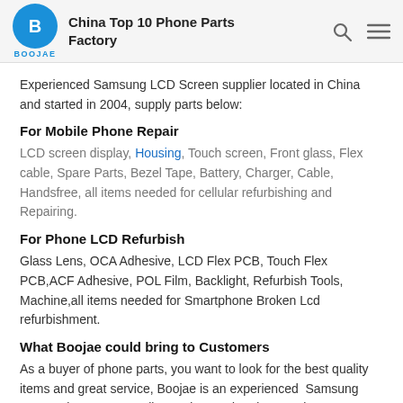China Top 10 Phone Parts Factory
Experienced Samsung LCD Screen supplier located in China and started in 2004, supply parts below:
For Mobile Phone Repair
LCD screen display, Housing, Touch screen, Front glass, Flex cable, Spare Parts, Bezel Tape, Battery, Charger, Cable, Handsfree, all items needed for cellular refurbishing and Repairing.
For Phone LCD Refurbish
Glass Lens, OCA Adhesive, LCD Flex PCB, Touch Flex PCB, ACF Adhesive, POL Film, Backlight, Refurbish Tools, Machine, all items needed for Smartphone Broken Lcd refurbishment.
What Boojae could bring to Customers
As a buyer of phone parts, you want to look for the best quality items and great service, Boojae is an experienced Samsung LCD replacement supplier, understand and customize our products and services to fit your needs.
High quality Parts, Technical Training Support , whoever you are repair